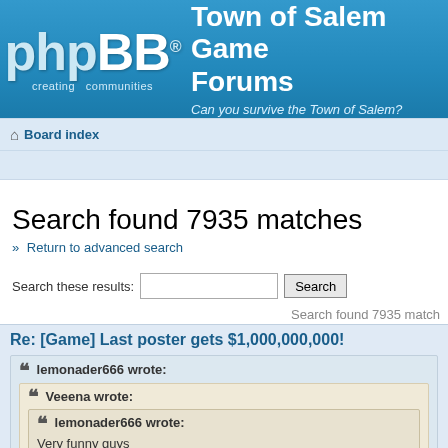[Figure (logo): phpBB logo with 'creating communities' tagline on blue background]
Town of Salem Game Forums
Can you survive the Town of Salem?
Board index
Search found 7935 matches
» Return to advanced search
Search these results: [input] Search
Search found 7935 match
Re: [Game] Last poster gets $1,000,000,000!
lemonader666 wrote:
Veeena wrote:
lemonader666 wrote:
Very funny guys